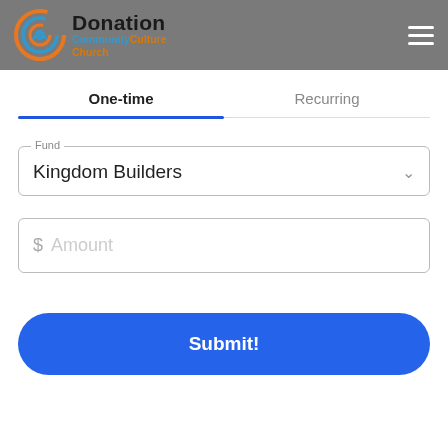Donation — Community Culture Church
One-time
Recurring
Fund
Kingdom Builders
$ Amount
Submit!